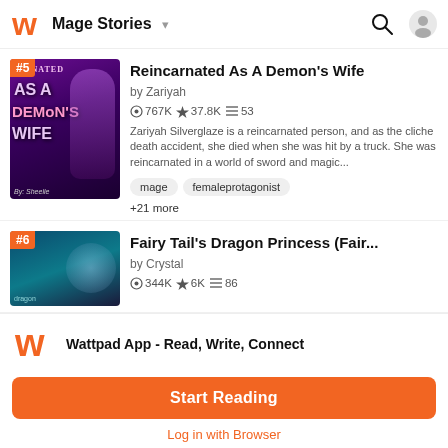Mage Stories
[Figure (screenshot): Cover image for 'Reincarnated As A Demon's Wife' - purple fantasy illustration with female character]
Reincarnated As A Demon's Wife
by Zariyah
767K ★ 37.8K ≡ 53
Zariyah Silverglaze is a reincarnated person, and as the cliche death accident, she died when she was hit by a truck. She was reincarnated in a world of sword and magic...
mage
femaleprotagonist
+21 more
[Figure (screenshot): Cover image for Fairy Tail's Dragon Princess - teal dragon fantasy illustration]
Fairy Tail's Dragon Princess (Fair...
by Crystal
344K ★ 6K ≡ 86
[Figure (logo): Wattpad W logo in orange]
Wattpad App - Read, Write, Connect
Start Reading
Log in with Browser